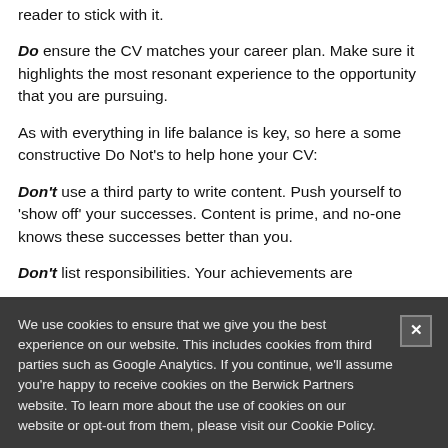reader to stick with it.
Do ensure the CV matches your career plan. Make sure it highlights the most resonant experience to the opportunity that you are pursuing.
As with everything in life balance is key, so here a some constructive Do Not's to help hone your CV:
Don't use a third party to write content. Push yourself to 'show off' your successes. Content is prime, and no-one knows these successes better than you.
Don't list responsibilities. Your achievements are
We use cookies to ensure that we give you the best experience on our website. This includes cookies from third parties such as Google Analytics. If you continue, we'll assume you're happy to receive cookies on the Berwick Partners website. To learn more about the use of cookies on our website or opt-out from them, please visit our Cookie Policy.